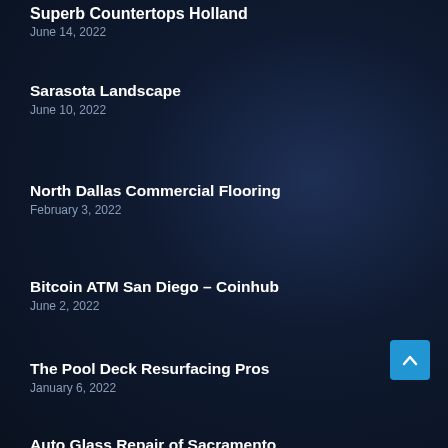Superb Countertops Holland
June 14, 2022
Sarasota Landscape
June 10, 2022
North Dallas Commercial Flooring
February 3, 2022
Bitcoin ATM San Diego – Coinhub
June 2, 2022
The Pool Deck Resurfacing Pros
January 6, 2022
Auto Glass Repair of Sacramento
August 13, 2021